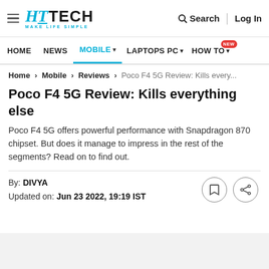HT TECH MAKE LIFE SIMPLE | Search | Log In
HOME | NEWS | MOBILE | LAPTOPS PC | HOW TO NEW
Home > Mobile > Reviews > Poco F4 5G Review: Kills every...
Poco F4 5G Review: Kills everything else
Poco F4 5G offers powerful performance with Snapdragon 870 chipset. But does it manage to impress in the rest of the segments? Read on to find out.
By: DIVYA
Updated on: Jun 23 2022, 19:19 IST